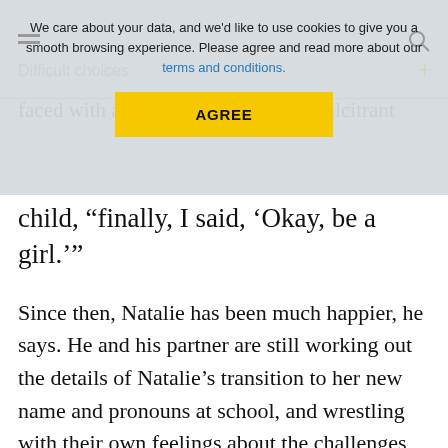[Figure (screenshot): Cookie consent banner overlay on a news article page. Contains text 'We care about your data, and we'd like to use cookies to give you a smooth browsing experience. Please agree and read more about our terms and conditions.' with a yellow AGREE button. Behind the overlay, partially visible text reads 'Difficult choices' and 'faced with a deeply unhappy and recalcitrant'.]
child, “finally, I said, ‘Okay, be a girl.’”
Since then, Natalie has been much happier, he says. He and his partner are still working out the details of Natalie’s transition to her new name and pronouns at school, and wrestling with their own feelings about the challenges ahead. Making decisions on her behalf, and supporting and advocating for her in school